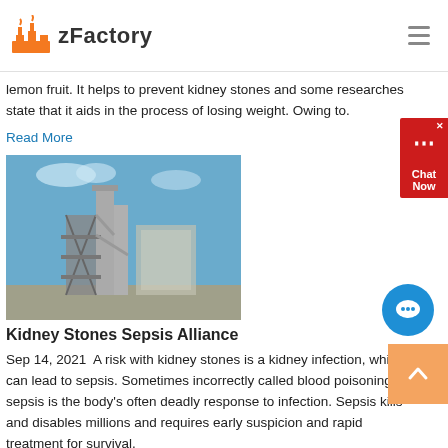zFactory
lemon fruit. It helps to prevent kidney stones and some researches state that it aids in the process of losing weight. Owing to.
Read More
[Figure (photo): Industrial factory structure with metal scaffolding and stairs against a blue sky]
Kidney Stones Sepsis Alliance
Sep 14, 2021  A risk with kidney stones is a kidney infection, which can lead to sepsis. Sometimes incorrectly called blood poisoning, sepsis is the body's often deadly response to infection. Sepsis kills and disables millions and requires early suspicion and rapid treatment for survival.
Read More
[Figure (photo): Partial view of second article image showing sky and clouds]